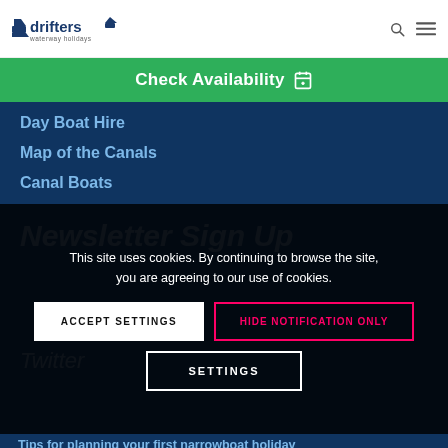drifters waterway holidays
Check Availability
Day Boat Hire
Map of the Canals
Canal Boats
This site uses cookies. By continuing to browse the site, you are agreeing to our use of cookies.
ACCEPT SETTINGS
HIDE NOTIFICATION ONLY
SETTINGS
Newsletter Sign Up
Twitter
Tips for planning your first narrowboat holiday
#lifebetterbywater #canalboatholiday #staycation